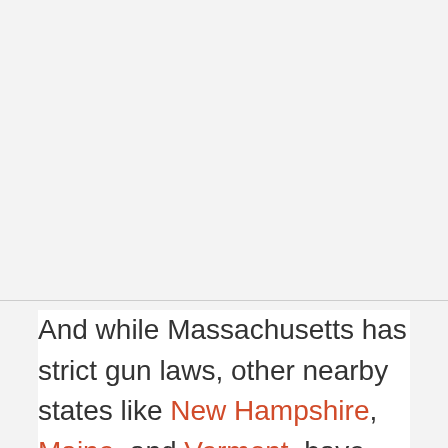[Figure (other): Upper blank/image area with light gray background]
And while Massachusetts has strict gun laws, other nearby states like New Hampshire, Maine, and Vermont, have some of the weakest, which could have allowed the brothers to legally purchase guns via